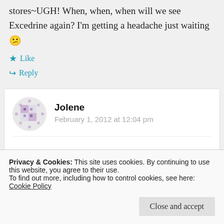stores~UGH! When, when, when will we see Excedrine again? I'm getting a headache just waiting 😕
★ Like
↪ Reply
Jolene
February 1, 2012 at 12:04 pm
Privacy & Cookies: This site uses cookies. By continuing to use this website, you agree to their use. To find out more, including how to control cookies, see here: Cookie Policy
Close and accept